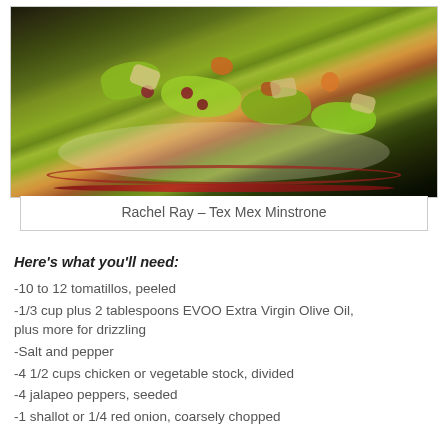[Figure (photo): Photo of a decorative plate with Tex Mex Minestrone soup featuring tomatillos green sauce, vegetables, beans, and tortilla chips]
Rachel Ray – Tex Mex Minstrone
Here's what you'll need:
-10 to 12 tomatillos, peeled
-1/3 cup plus 2 tablespoons EVOO Extra Virgin Olive Oil, plus more for drizzling
-Salt and pepper
-4 1/2 cups chicken or vegetable stock, divided
-4 jalapeo peppers, seeded
-1 shallot or 1/4 red onion, coarsely chopped